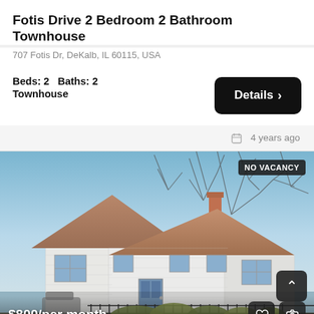Fotis Drive 2 Bedroom 2 Bathroom Townhouse
707 Fotis Dr, DeKalb, IL 60115, USA
Beds: 2   Baths: 2
Townhouse
Details >
4 years ago
[Figure (photo): Exterior photo of a white two-story townhouse with brown shingle roof and brick chimney, bare trees in background, green shrubs in front, black iron fence, 'NO VACANCY' badge top right.]
$800/per month